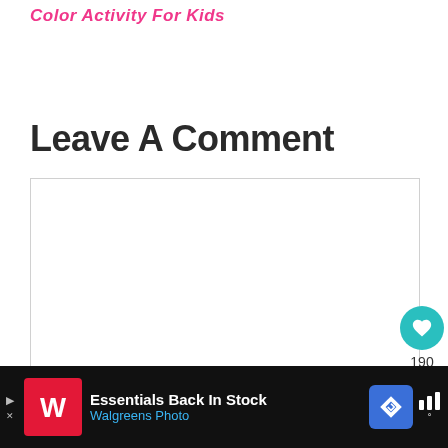Color Activity For Kids
Leave A Comment
[Figure (other): Empty comment text area input box with light gray border]
[Figure (other): Social interaction buttons: teal heart/like button with count 190, and share button]
190
[Figure (other): Advertisement banner: Walgreens Photo - Essentials Back In Stock]